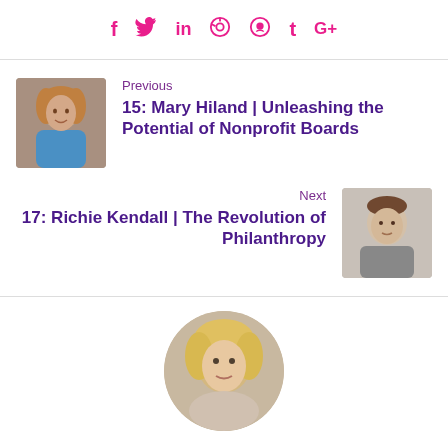[Figure (other): Social media sharing icons row: Facebook (f), Twitter (bird), LinkedIn (in), Pinterest (P), Reddit, Tumblr (t), Google+ (G+) in pink/magenta color]
Previous
15: Mary Hiland | Unleashing the Potential of Nonprofit Boards
Next
17: Richie Kendall | The Revolution of Philanthropy
[Figure (photo): Circular cropped headshot photo of a blonde woman, partially visible at bottom of page]